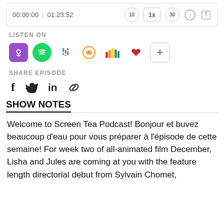[Figure (screenshot): Podcast player bar showing time 00:00:00 | 01:23:52 with playback controls (rewind 10, 1x speed, forward 30, info, share)]
LISTEN ON
[Figure (screenshot): Row of podcast platform icons: Apple Podcasts, Spotify, Google Podcasts, Overcast, Chartable, iHeart Radio, and a plus button]
SHARE EPISODE
[Figure (screenshot): Social share icons: Facebook (f), Twitter (bird), LinkedIn (in), Link (chain)]
SHOW NOTES
Welcome to Screen Tea Podcast! Bonjour et buvez beaucoup d'eau pour vous préparer à l'épisode de cette semaine! For week two of all-animated film December, Lisha and Jules are coming at you with the feature length directorial debut from Sylvain Chomet,